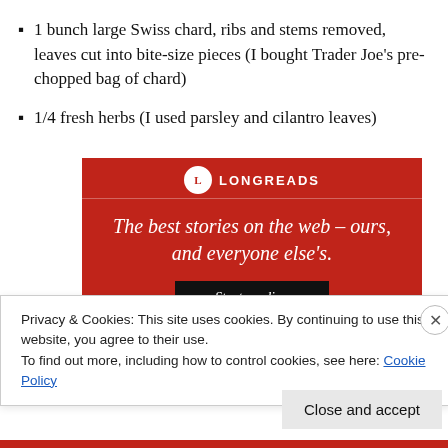1 bunch large Swiss chard, ribs and stems removed, leaves cut into bite-size pieces (I bought Trader Joe's pre-chopped bag of chard)
1/4 fresh herbs (I used parsley and cilantro leaves)
[Figure (other): Longreads advertisement banner on red background with tagline 'The best stories on the web – ours, and everyone else's.' and a 'Start reading' button.]
Privacy & Cookies: This site uses cookies. By continuing to use this website, you agree to their use.
To find out more, including how to control cookies, see here: Cookie Policy
Close and accept